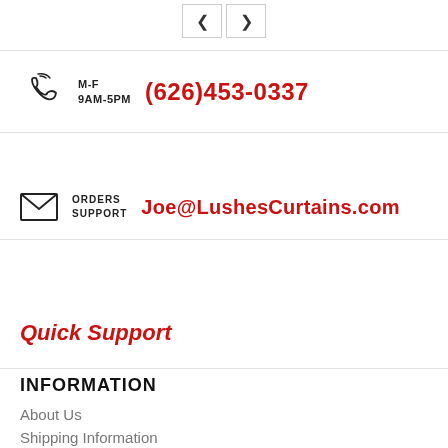[Figure (illustration): Navigation previous and next arrow buttons (< and >) with border]
M-F 9AM-5PM (626)453-0337
ORDERS SUPPORT Joe@LushesCurtains.com
Quick Support
INFORMATION
About Us
Shipping Information